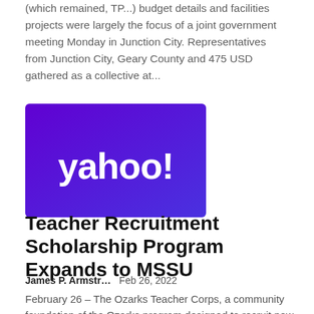(which remained, TP...) budget details and facilities projects were largely the focus of a joint government meeting Monday in Junction City. Representatives from Junction City, Geary County and 475 USD gathered as a collective at...
[Figure (logo): Yahoo! logo — white text on purple-to-blue gradient background]
Teacher Recruitment Scholarship Program Expands to MSSU
James P. Armstr...    Feb 26, 2022
February 26 – The Ozarks Teacher Corps, a community foundation of the Ozarks program designed to recruit new teachers to rural